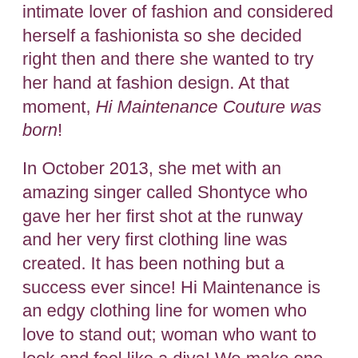...she was always an intimate lover of fashion and considered herself a fashionista so she decided right then and there she wanted to try her hand at fashion design. At that moment, Hi Maintenance Couture was born!

In October 2013, she met with an amazing singer called Shontyce who gave her her first shot at the runway and her very first clothing line was created. It has been nothing but a success ever since! Hi Maintenance is an edgy clothing line for women who love to stand out; woman who want to look and feel like a diva! We make one-of-a-kind pieces that really stand out in a crowd with a mixture of sexy and bold jewelry to create a look that defines our name 'Hi Maintenance Couture'. Hi Maintenance makes clothing for all size women, kids, and